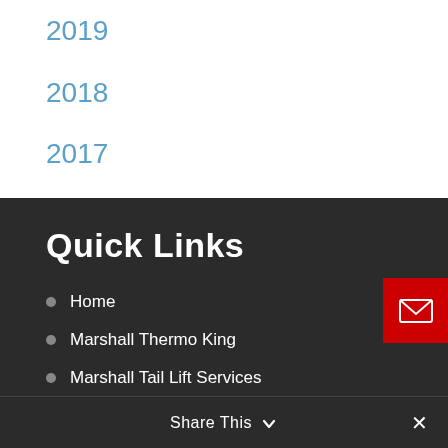2019
2018
2017
2016
Quick Links
Home
Marshall Thermo King
Marshall Tail Lift Services
Marshall Fleet Management
Marshall ASSIST
Parts
Share This